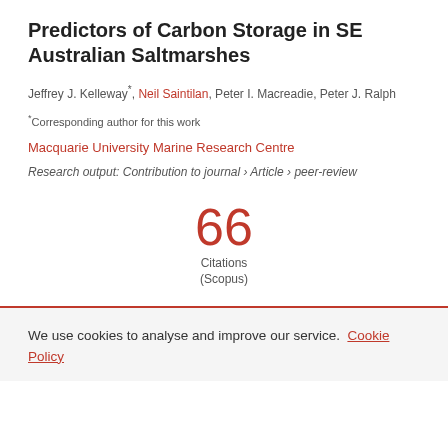Predictors of Carbon Storage in SE Australian Saltmarshes
Jeffrey J. Kelleway*, Neil Saintilan, Peter I. Macreadie, Peter J. Ralph
*Corresponding author for this work
Macquarie University Marine Research Centre
Research output: Contribution to journal › Article › peer-review
66 Citations (Scopus)
We use cookies to analyse and improve our service. Cookie Policy